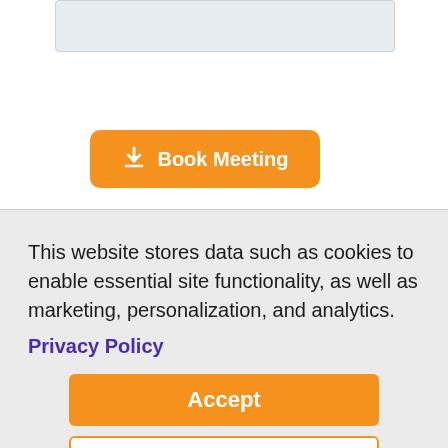[Figure (screenshot): Input field box (text input, light blue-gray background)]
[Figure (screenshot): Orange 'Book Meeting' button with download arrow icon]
This website stores data such as cookies to enable essential site functionality, as well as marketing, personalization, and analytics. Privacy Policy
[Figure (screenshot): Orange 'Accept' button]
[Figure (screenshot): White 'Deny' button with orange border and orange text]